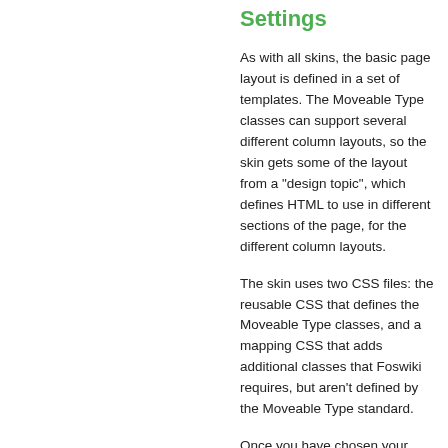Settings
As with all skins, the basic page layout is defined in a set of templates. The Moveable Type classes can support several different column layouts, so the skin gets some of the layout from a "design topic", which defines HTML to use in different sections of the page, for the different column layouts.
The skin uses two CSS files: the reusable CSS that defines the Moveable Type classes, and a mapping CSS that adds additional classes that Foswiki requires, but aren't defined by the Moveable Type standard.
Once you have chosen your